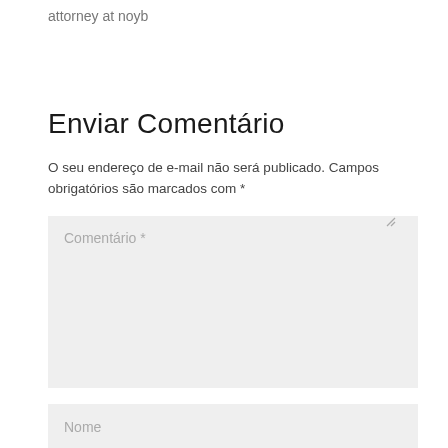attorney at noyb
Enviar Comentário
O seu endereço de e-mail não será publicado. Campos obrigatórios são marcados com *
Comentário *
Nome